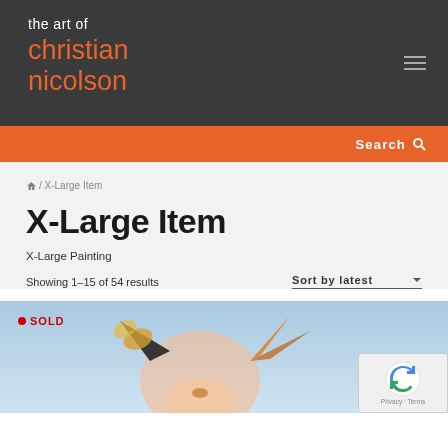the art of christian nicolson
Search
🏠 / X-Large Item
X-Large Item
X-Large Painting
Showing 1–15 of 54 results
Sort by latest
[Figure (photo): Photo of a dog with decorative painted butterfly-like ears, viewed from below against a sky background. Red SOLD badge in upper-left corner.]
Privacy · Terms